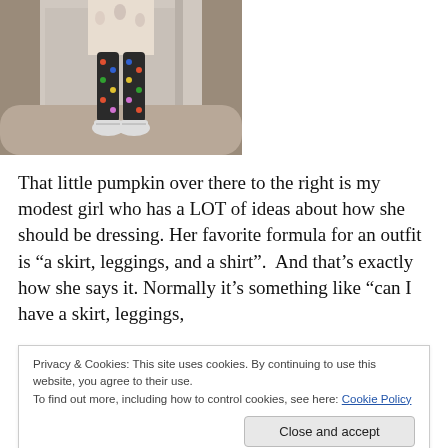[Figure (photo): Photo of a child from waist down wearing a floral/patterned top or skirt, dark polka-dot leggings, and white sneakers, standing in front of a white door on a carpeted floor.]
That little pumpkin over there to the right is my modest girl who has a LOT of ideas about how she should be dressing. Her favorite formula for an outfit is “a skirt, leggings, and a shirt”.  And that’s exactly how she says it. Normally it’s something like “can I have a skirt, leggings,
Privacy & Cookies: This site uses cookies. By continuing to use this website, you agree to their use.
To find out more, including how to control cookies, see here: Cookie Policy
Close and accept
her herself.  She has her own style, that’s for sure!